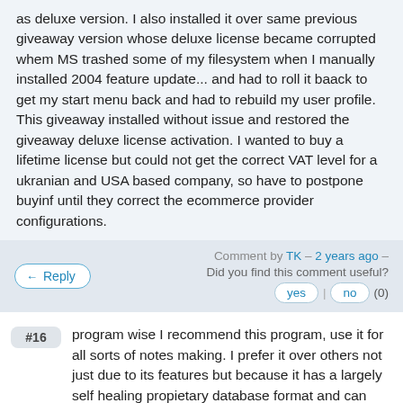as deluxe version. I also installed it over same previous giveaway version whose deluxe license became corrupted whem MS trashed some of my filesystem when I manually installed 2004 feature update... and had to roll it baack to get my start menu back and had to rebuild my user profile. This giveaway installed without issue and restored the giveaway deluxe license activation. I wanted to buy a lifetime license but could not get the correct VAT level for a ukranian and USA based company, so have to postpone buyinf until they correct the ecommerce provider configurations.
Comment by TK – 2 years ago –
Did you find this comment useful?
Reply
yes | no (0)
#16 program wise I recommend this program, use it for all sorts of notes making. I prefer it over others not just due to its features but because it has a largely self healing propietary database format and can strongly encrypt the database if required. The only negative thing I find is when I went to buy it I was charged VAT